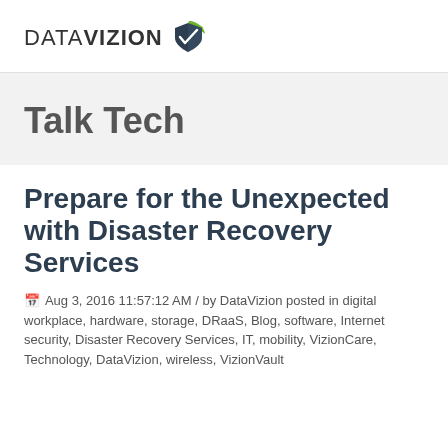[Figure (logo): DataVizion logo: text 'DATAVIZION' with a green and dark shield/checkmark icon to the right]
Talk Tech
Prepare for the Unexpected with Disaster Recovery Services
Aug 3, 2016 11:57:12 AM / by DataVizion posted in digital workplace, hardware, storage, DRaaS, Blog, software, Internet security, Disaster Recovery Services, IT, mobility, VizionCare, Technology, DataVizion, wireless, VizionVault